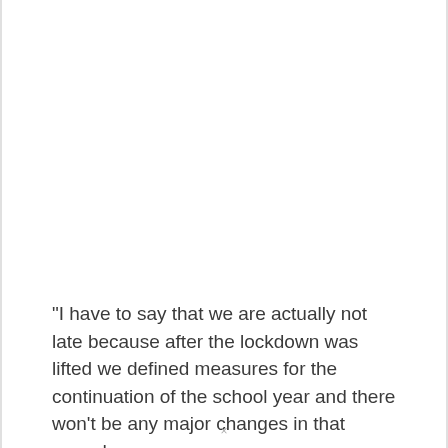"I have to say that we are actually not late because after the lockdown was lifted we defined measures for the continuation of the school year and there won't be any major changes in that regard as
×